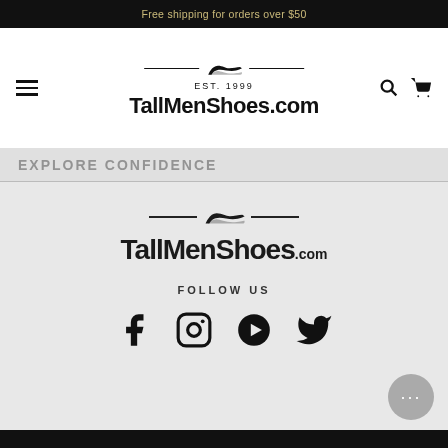Free shipping for orders over $50
[Figure (logo): TallMenShoes.com logo with shoe icon and EST. 1999 text, navigation hamburger menu, search and cart icons]
EXPLORE CONFIDENCE
[Figure (logo): TallMenShoes.com footer logo with shoe icon and horizontal lines]
FOLLOW US
[Figure (infographic): Social media icons: Facebook, Instagram, YouTube, Twitter]